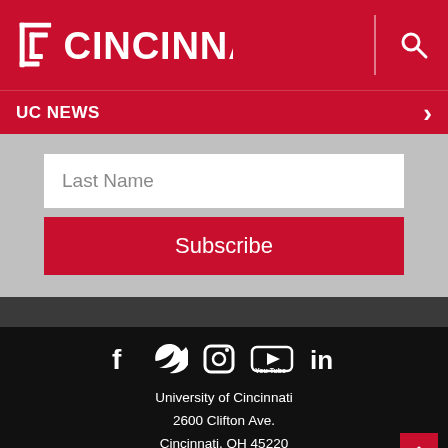UC Cincinnati logo and search icon
UC NEWS
Last Name
Subscribe
University of Cincinnati
2600 Clifton Ave.
Cincinnati, OH 45220
513-556-0000